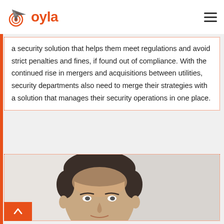oyla
a security solution that helps them meet regulations and avoid strict penalties and fines, if found out of compliance. With the continued rise in mergers and acquisitions between utilities, security departments also need to merge their strategies with a solution that manages their security operations in one place.
[Figure (photo): Headshot photo of a man with short dark hair, cropped at neck level, against a light background.]